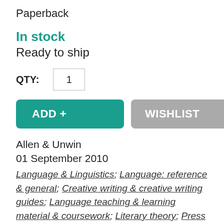Paperback
In stock
Ready to ship
QTY: 1
ADD +   WISHLIST
Allen & Unwin
01 September 2010
Language & Linguistics; Language: reference & general; Creative writing & creative writing guides; Language teaching & learning material & coursework; Literary theory; Press & journalism